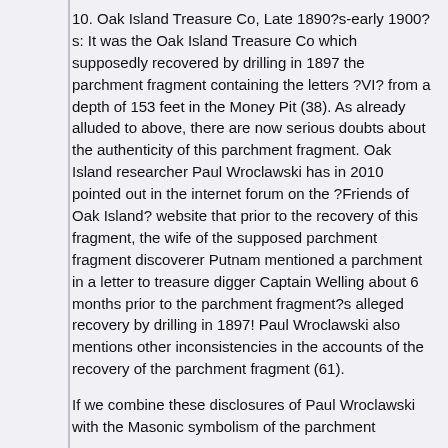10. Oak Island Treasure Co, Late 1890?s-early 1900?s: It was the Oak Island Treasure Co which supposedly recovered by drilling in 1897 the parchment fragment containing the letters ?VI? from a depth of 153 feet in the Money Pit (38). As already alluded to above, there are now serious doubts about the authenticity of this parchment fragment. Oak Island researcher Paul Wroclawski has in 2010 pointed out in the internet forum on the ?Friends of Oak Island? website that prior to the recovery of this fragment, the wife of the supposed parchment fragment discoverer Putnam mentioned a parchment in a letter to treasure digger Captain Welling about 6 months prior to the parchment fragment?s alleged recovery by drilling in 1897! Paul Wroclawski also mentions other inconsistencies in the accounts of the recovery of the parchment fragment (61).
If we combine these disclosures of Paul Wroclawski with the Masonic symbolism of the parchment fragment, it seems plausible to conclude it was in fact a plant designed to inspire investment in the Oak Island Treasure Co which appears to have struggled for funds and eventually went bankrupt (62).
11. The Masonic Symbolism Added to the Oak Island Legend: We have recorded above that McCully?s 1862 article referred to at least 10 elements of Masonic symbolism, of which nine were drawn from a single Masonic